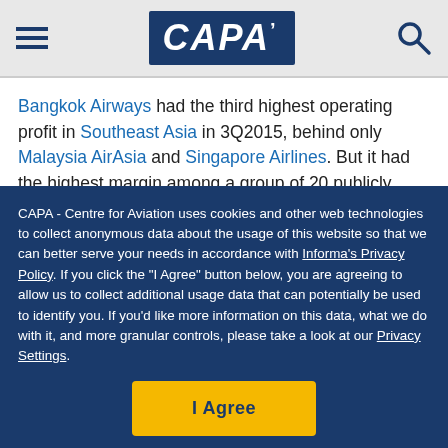CAPA
Bangkok Airways had the third highest operating profit in Southeast Asia in 3Q2015, behind only Malaysia AirAsia and Singapore Airlines. But it had the highest margin among a group of 20 publicly traded airlines or affiliates in Southeast Asia and posted the highest margin in Thailand by a wide margin.
See related report: Southeast Asian airlines: improved
CAPA - Centre for Aviation uses cookies and other web technologies to collect anonymous data about the usage of this website so that we can better serve your needs in accordance with Informa's Privacy Policy. If you click the "I Agree" button below, you are agreeing to allow us to collect additional usage data that can potentially be used to identify you. If you'd like more information on this data, what we do with it, and more granular controls, please take a look at our Privacy Settings.